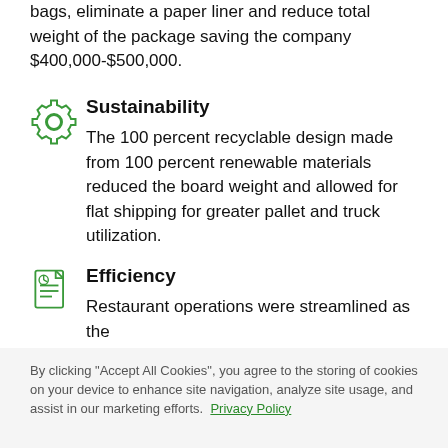bags, eliminate a paper liner and reduce total weight of the package saving the company $400,000-$500,000.
[Figure (illustration): Green gear/settings icon representing sustainability]
Sustainability
The 100 percent recyclable design made from 100 percent renewable materials reduced the board weight and allowed for flat shipping for greater pallet and truck utilization.
[Figure (illustration): Green document/chart icon representing efficiency]
Efficiency
Restaurant operations were streamlined as the
By clicking "Accept All Cookies", you agree to the storing of cookies on your device to enhance site navigation, analyze site usage, and assist in our marketing efforts.  Privacy Policy